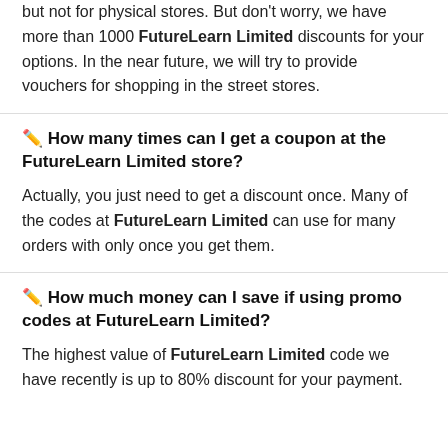but not for physical stores. But don’t worry, we have more than 1000 FutureLearn Limited discounts for your options. In the near future, we will try to provide vouchers for shopping in the street stores.
✏️ How many times can I get a coupon at the FutureLearn Limited store?
Actually, you just need to get a discount once. Many of the codes at FutureLearn Limited can use for many orders with only once you get them.
✏️ How much money can I save if using promo codes at FutureLearn Limited?
The highest value of FutureLearn Limited code we have recently is up to 80% discount for your payment.